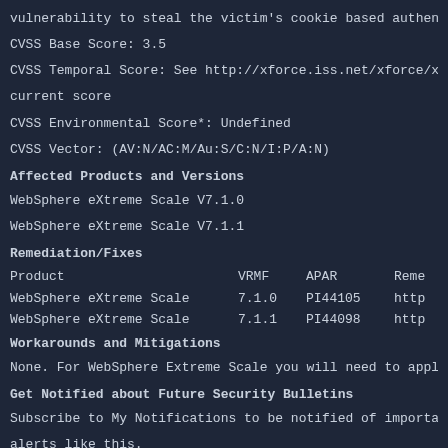Vulnerability to steal the victim's cookie based authenticat
CVSS Base Score: 3.5
CVSS Temporal Score: See http://xforce.iss.net/xforce/xfdb/1
current score
CVSS Environmental Score*: Undefined
CVSS Vector: (AV:N/AC:M/Au:S/C:N/I:P/A:N)
Affected Products and Versions
WebSphere eXtreme Scale V7.1.0
WebSphere eXtreme Scale V7.1.1
Remediation/Fixes
| Product | VRMF | APAR | Reme |
| --- | --- | --- | --- |
| WebSphere eXtreme Scale | 7.1.0 | PI44105 | http |
| WebSphere eXtreme Scale | 7.1.1 | PI44098 | http |
Workarounds and Mitigations
None. For WebSphere Extreme Scale you will need to apply the
Get Notified about Future Security Bulletins
Subscribe to My Notifications to be notified of important pr
alerts like this.